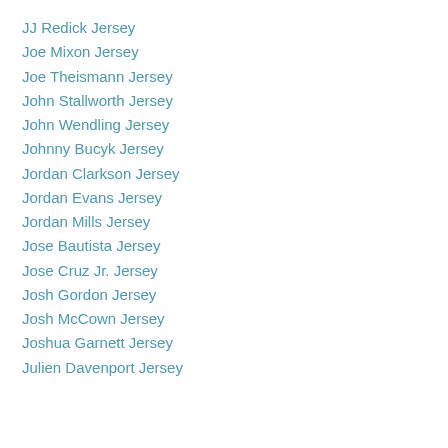JJ Redick Jersey
Joe Mixon Jersey
Joe Theismann Jersey
John Stallworth Jersey
John Wendling Jersey
Johnny Bucyk Jersey
Jordan Clarkson Jersey
Jordan Evans Jersey
Jordan Mills Jersey
Jose Bautista Jersey
Jose Cruz Jr. Jersey
Josh Gordon Jersey
Josh McCown Jersey
Joshua Garnett Jersey
Julien Davenport Jersey